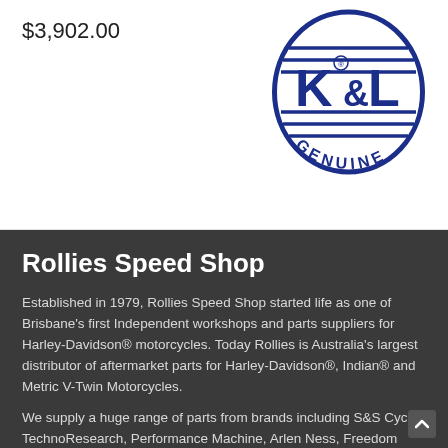$3,902.00
[Figure (logo): K&L Genuine logo — circular badge in dark blue with 'K&L' text in center and 'GENUINE' around the bottom arc, with horizontal lines across the top and bottom of the circle]
Rollies Speed Shop
Established in 1979, Rollies Speed Shop started life as one of Brisbane's first Independent workshops and parts suppliers for Harley-Davidson® motorcycles. Today Rollies is Australia's largest distributor of aftermarket parts for Harley-Davidson®, Indian® and Metric V-Twin Motorcycles.
We supply a huge range of parts from brands including S&S Cycle, TechnoResearch, Performance Machine, Arlen Ness, Freedom